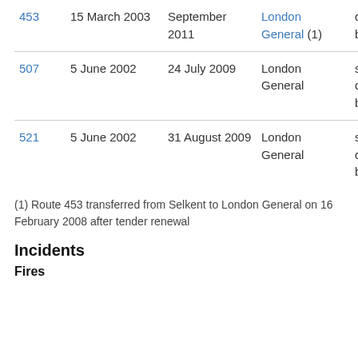| Route | Start date | End date | Operator | Notes |
| --- | --- | --- | --- | --- |
| 453 | 15 March 2003 | September 2011 | London General (1) | decker buses |
| 507 | 5 June 2002 | 24 July 2009 | London General | single decker buses |
| 521 | 5 June 2002 | 31 August 2009 | London General | single decker buses |
(1) Route 453 transferred from Selkent to London General on 16 February 2008 after tender renewal
Incidents
Fires